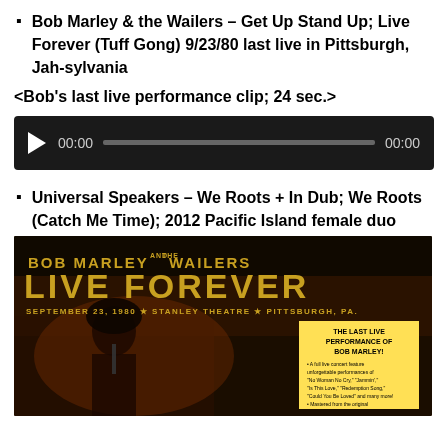Bob Marley & the Wailers – Get Up Stand Up; Live Forever (Tuff Gong) 9/23/80 last live in Pittsburgh, Jah-sylvania
<Bob's last live performance clip; 24 sec.>
[Figure (screenshot): Audio player with play button, 00:00 timestamp, progress bar, and 00:00 end time on dark background]
Universal Speakers – We Roots + In Dub; We Roots (Catch Me Time); 2012 Pacific Island female duo
[Figure (photo): Bob Marley and the Wailers Live Forever album cover - September 23, 1980, Stanley Theatre, Pittsburgh PA. Shows Bob Marley with microphone, gold text on dark background with yellow inset box reading 'The Last Live Performance of Bob Marley!']